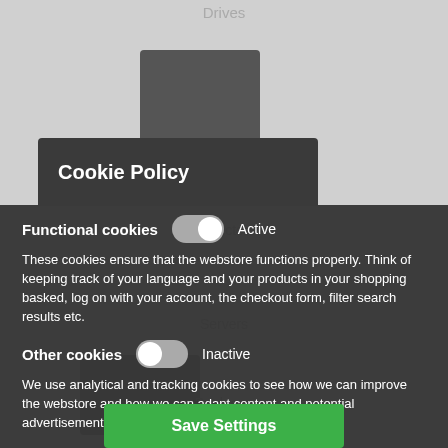Drives
Projectors
Cookie Policy
Functional cookies
These cookies ensure that the webstore functions properly. Think of keeping track of your language and your products in your shopping basked, log on with your account, the checkout form, filter search results etc.
Servers
Other cookies
We use analytical and tracking cookies to see how we can improve the webstore and how we can adapt content and potential advertisements to your preference.
Desktops
Save Settings